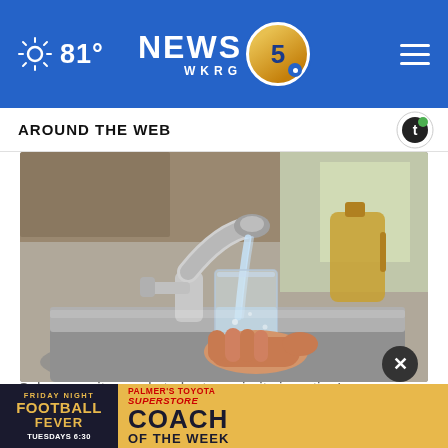NEWS 5 WKRG — 81°
AROUND THE WEB
[Figure (photo): A hand holding a clear glass being filled with water from a chrome kitchen faucet over a stainless steel sink. Kitchen appliances visible in background.]
Cybersecurity needs to be top priority in nation's wat...
[Figure (infographic): Bottom advertisement banner: Friday Night Football Fever - Palmer's Toyota Superstore - Coach of the Week - Tuesdays 6:30]